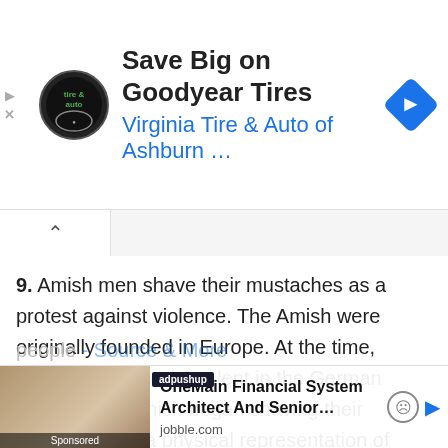[Figure (screenshot): Advertisement banner for Virginia Tire & Auto of Ashburn featuring Goodyear Tires logo and blue navigation arrow icon]
9. Amish men shave their mustaches as a protest against violence. The Amish were originally founded in Europe. At the time, mustaches were prevalent in the German military. The Amish began shaving their mustaches as a physical representation of their non-violent nature. This tradition continues to today. - Source & More
10. The Russian language has a proverb similar to "Necessity is the Mother of Invention" that literally translates to "poor people - Source & More
[Figure (screenshot): Bottom advertisement for OneMain Financial System Architect And Senior... from jobble.com with adpushup label, sponsored image, and navigation icons]